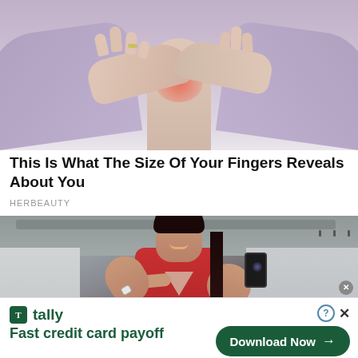[Figure (photo): Photo of a person's hands holding their wrist, with a red/pink highlighted area indicating pain or inflammation, against a light purple/grey background.]
This Is What The Size Of Your Fingers Reveals About You
HERBEAUTY
[Figure (photo): Photo of a fit woman in a red tank top taking a mirror selfie at a gym, holding a phone and flexing, smiling.]
[Figure (infographic): Advertisement banner for Tally app: 'Fast credit card payoff' with a 'Download Now' button and arrow, green color scheme.]